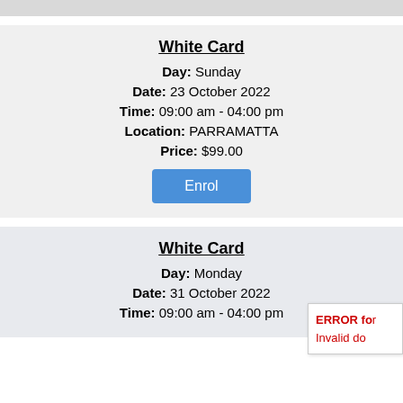[top strip]
White Card
Day: Sunday
Date: 23 October 2022
Time: 09:00 am - 04:00 pm
Location: PARRAMATTA
Price: $99.00
Enrol
White Card
Day: Monday
Date: 31 October 2022
Time: 09:00 am - 04:00 pm
ERROR for site owner: Invalid do